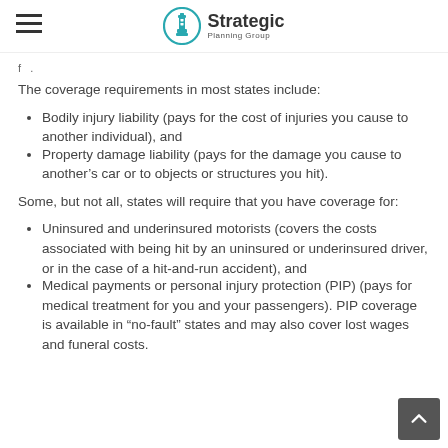Strategic Planning Group
f . .
The coverage requirements in most states include:
Bodily injury liability (pays for the cost of injuries you cause to another individual), and
Property damage liability (pays for the damage you cause to another’s car or to objects or structures you hit).
Some, but not all, states will require that you have coverage for:
Uninsured and underinsured motorists (covers the costs associated with being hit by an uninsured or underinsured driver, or in the case of a hit-and-run accident), and
Medical payments or personal injury protection (PIP) (pays for medical treatment for you and your passengers). PIP coverage is available in “no-fault” states and may also cover lost wages and funeral costs.